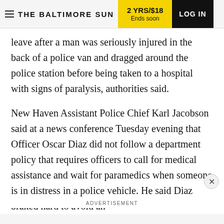THE BALTIMORE SUN | 2 YRS/$18 Ends soon | LOG IN
leave after a man was seriously injured in the back of a police van and dragged around the police station before being taken to a hospital with signs of paralysis, authorities said.
New Haven Assistant Police Chief Karl Jacobson said at a news conference Tuesday evening that Officer Oscar Diaz did not follow a department policy that requires officers to call for medical assistance and wait for paramedics when someone is in distress in a police vehicle. He said Diaz braked hard to avoid an
ADVERTISEMENT